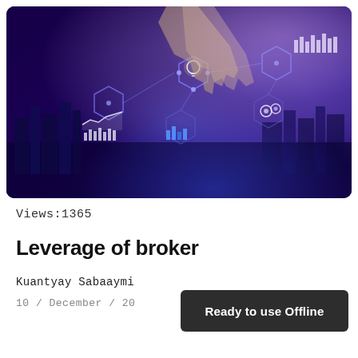[Figure (photo): Hero image showing a hand touching a digital financial interface with hexagonal network nodes, charts, bar graphs, gears, and a lightbulb icon on a blue/purple glowing background representing financial technology and trading.]
Views:1365
Leverage of broker
Kuantyay Sabaaymi
10 / December / 20
Ready to use Offline